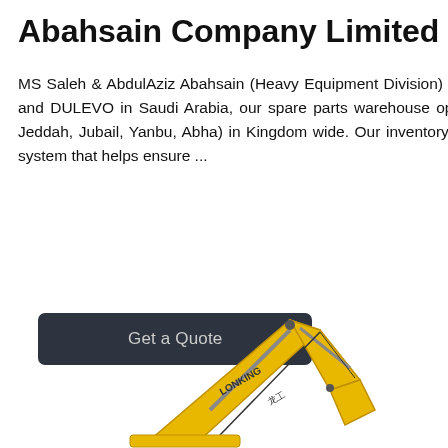Abahsain Company Limited
MS Saleh & AbdulAziz Abahsain (Heavy Equipment Division) is the authorized dealer of TADANO, WACKER NEUSON and DULEVO in Saudi Arabia, our spare parts warehouse operations are located in six major cities (Khobar, Riyadh, Jeddah, Jubail, Yanbu, Abha) in Kingdom wide. Our inventory is maintained by an automated demand-based inventory system that helps ensure ...
Get a Quote
[Figure (screenshot): Sidebar with Chat, Email, and Contact icons on dark background with red dividers]
[Figure (photo): Yellow Lonking excavator arm/boom visible at bottom of page]